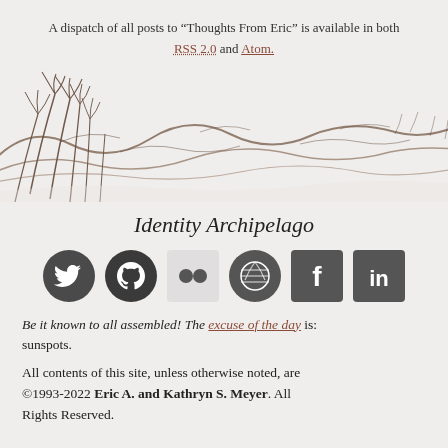A dispatch of all posts to "Thoughts From Eric" is available in both RSS 2.0 and Atom.
[Figure (illustration): Ink-style wave illustration with reeds/grasses, spanning the full width of the page, resembling Japanese woodblock art in brown/sepia tones on a light background.]
Identity Archipelago
[Figure (infographic): Row of six social media icons: Twitter (bird), GitHub (octocat), Flickr (two dots on white square), Dribbble (globe grid), Facebook (F), LinkedIn (in) — all in dark gray/charcoal square or circular backgrounds.]
Be it known to all assembled! The excuse of the day is: sunspots.
All contents of this site, unless otherwise noted, are ©1993-2022 Eric A. and Kathryn S. Meyer. All Rights Reserved.